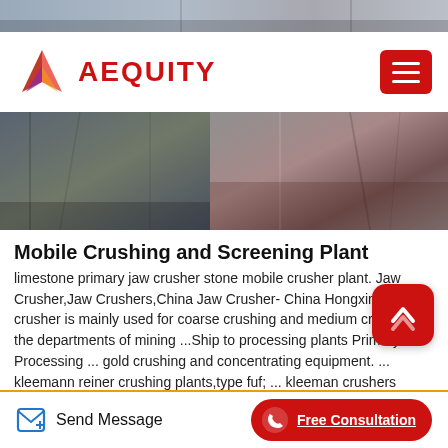[Figure (photo): Top banner strip showing industrial/construction equipment]
AEQUITY
[Figure (photo): Middle banner strip showing mining/crushing equipment machinery]
Mobile Crushing and Screening Plant
limestone primary jaw crusher stone mobile crusher plant. Jaw Crusher,Jaw Crushers,China Jaw Crusher- China Hongxing ... crusher is mainly used for coarse crushing and medium crushing in the departments of mining ...Ship to processing plants Primary Processing ... gold crushing and concentrating equipment. ... kleemann reiner crushing plants,type fuf; ... kleeman crushers crushing plants kleemann reiner Used crushers: mobile jaw crushers any year and any manufacturer. Find the used jaw crusher ...
Send Message | Free Consultation